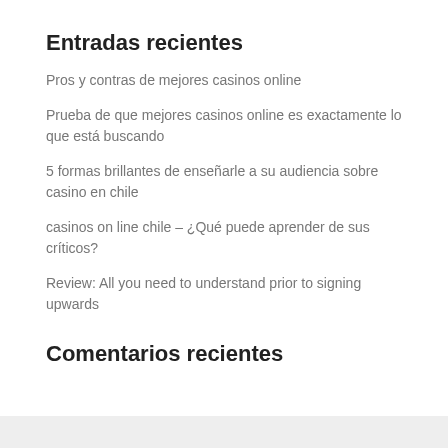Entradas recientes
Pros y contras de mejores casinos online
Prueba de que mejores casinos online es exactamente lo que está buscando
5 formas brillantes de enseñarle a su audiencia sobre casino en chile
casinos on line chile – ¿Qué puede aprender de sus críticos?
Review: All you need to understand prior to signing upwards
Comentarios recientes